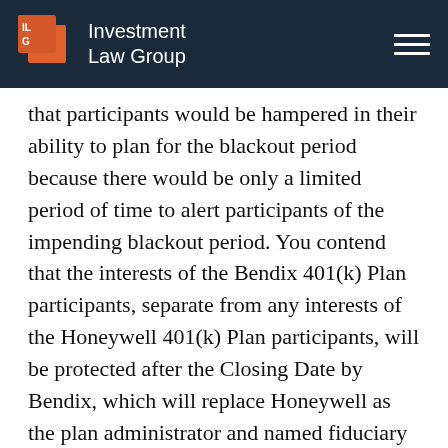Investment Law Group
that participants would be hampered in their ability to plan for the blackout period because there would be only a limited period of time to alert participants of the impending blackout period. You contend that the interests of the Bendix 401(k) Plan participants, separate from any interests of the Honeywell 401(k) Plan participants, will be protected after the Closing Date by Bendix, which will replace Honeywell as the plan administrator and named fiduciary of